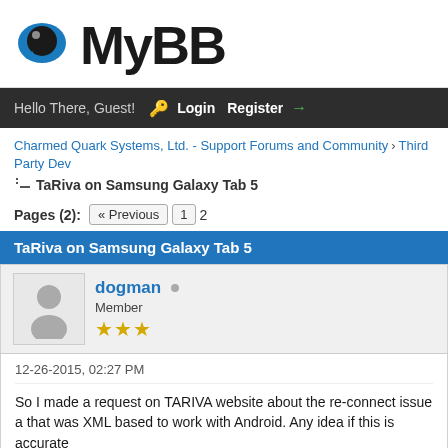[Figure (logo): MyBB forum logo with blue speech bubble icon and bold MyBB text]
Hello There, Guest! 🔑 Login Register →
Charmed Quark Systems, Ltd. - Support Forums and Community › Third Party Dev
TaRiva on Samsung Galaxy Tab 5
Pages (2): « Previous 1 2
TaRiva on Samsung Galaxy Tab 5
dogman • Member ★★★
12-26-2015, 02:27 PM
So I made a request on TARIVA website about the re-connect issue a that was XML based to work with Android. Any idea if this is accurate